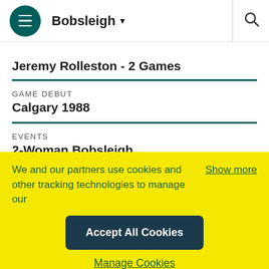Bobsleigh
Jeremy Rolleston - 2 Games
GAME DEBUT
Calgary 1988
EVENTS
2-Woman Bobsleigh
We and our partners use cookies and other tracking technologies to manage our
Show more
Accept All Cookies
Manage Cookies